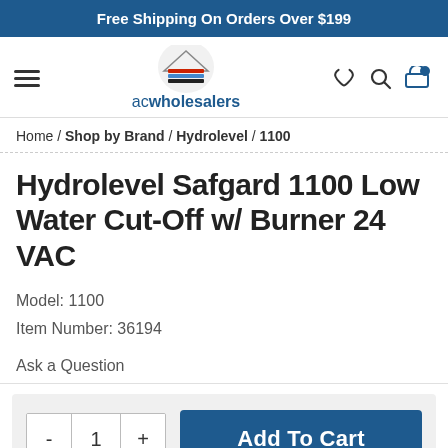Free Shipping On Orders Over $199
[Figure (logo): ACWholesalers logo with house/layers icon and text 'acwholesalers']
Home / Shop by Brand / Hydrolevel / 1100
Hydrolevel Safgard 1100 Low Water Cut-Off w/ Burner 24 VAC
Model: 1100
Item Number: 36194
Ask a Question